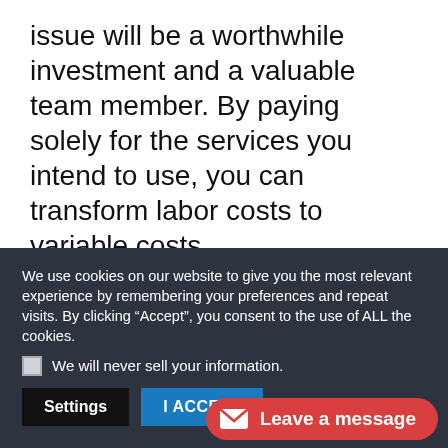issue will be a worthwhile investment and a valuable team member. By paying solely for the services you intend to use, you can transform labor costs to variable costs.
Most businesses have periods of the
We use cookies on our website to give you the most relevant experience by remembering your preferences and repeat visits. By clicking “Accept”, you consent to the use of ALL the cookies.
We will never sell your information.
Settings
I ACCEPT
Leave a message